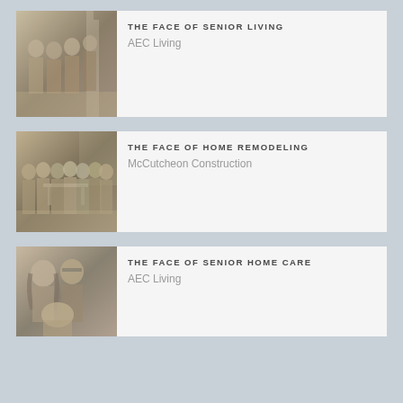[Figure (photo): Black and white sepia photo of group of older adults (senior living) posing indoors near a staircase]
THE FACE OF SENIOR LIVING
AEC Living
[Figure (photo): Black and white sepia photo of group of workers (home remodeling team) posing indoors in a room under renovation]
THE FACE OF HOME REMODELING
McCutcheon Construction
[Figure (photo): Black and white sepia photo of caregivers and senior posing together (senior home care)]
THE FACE OF SENIOR HOME CARE
AEC Living